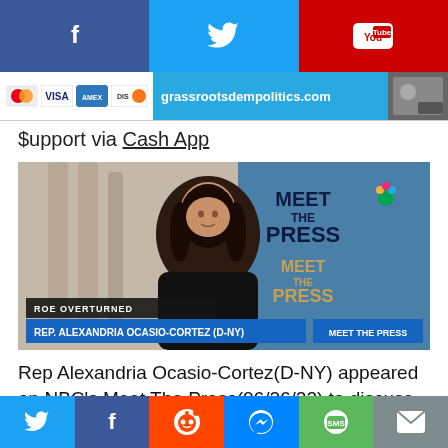[Figure (other): Top social media share bar with Facebook, Twitter, and YouTube icons]
[Figure (other): Payment logos strip showing Mastercard, Visa, American Express, Discover, grassrootsdempolitics.com URL, and news thumbnail]
$upport via Cash App
[Figure (screenshot): Screenshot of Rep. Alexandria Ocasio-Cortez (D-NY) appearing on NBC's Meet The Press with lower third chyron reading 'ROE OVERTURNED' and 'REP. ALEXANDRIA OCASIO-CORTEZ (D-NY)']
Rep Alexandria Ocasio-Cortez(D-NY) appeared on NBC's Meet The Press(06/26/22) to discuss this week's
[Figure (other): Bottom share bar with Twitter, Facebook, Reddit, Messenger, SMS, and email icons]